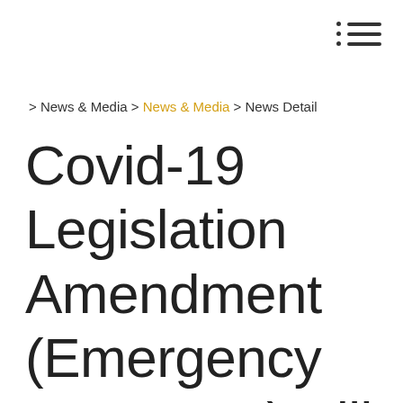menu icon
> News & Media > News & Media > News Detail
Covid-19 Legislation Amendment (Emergency Measures) Bill 2020